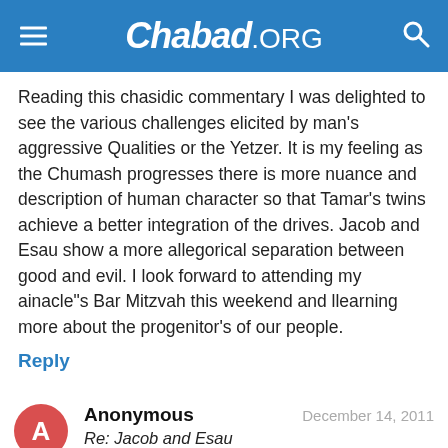Chabad.ORG
Reading this chasidic commentary I was delighted to see the various challenges elicited by man's aggressive Qualities or the Yetzer. It is my feeling as the Chumash progresses there is more nuance and description of human character so that Tamar's twins achieve a better integration of the drives. Jacob and Esau show a more allegorical separation between good and evil. I look forward to attending my ainacle"s Bar Mitzvah this weekend and llearning more about the progenitor's of our people.
Reply
Anonymous
December 14, 2011
Re: Jacob and Esau
If you read the commentary in the Chumash